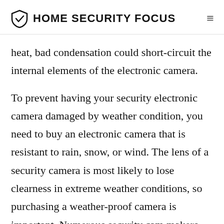HOME SECURITY FOCUS
heat, bad condensation could short-circuit the internal elements of the electronic camera.
To prevent having your security electronic camera damaged by weather condition, you need to buy an electronic camera that is resistant to rain, snow, or wind. The lens of a security camera is most likely to lose clearness in extreme weather conditions, so purchasing a weather-proof camera is important. Numerous security cam makers